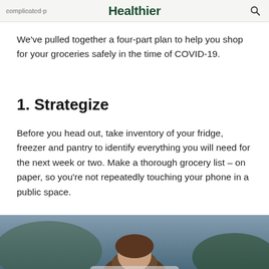Healthier
complicated p... ...ation...
We've pulled together a four-part plan to help you shop for your groceries safely in the time of COVID-19.
1. Strategize
Before you head out, take inventory of your fridge, freezer and pantry to identify everything you will need for the next week or two. Make a thorough grocery list – on paper, so you're not repeatedly touching your phone in a public space.
[Figure (photo): A person's head and shoulders visible at the bottom of the page, photographed outdoors with a blurred background.]